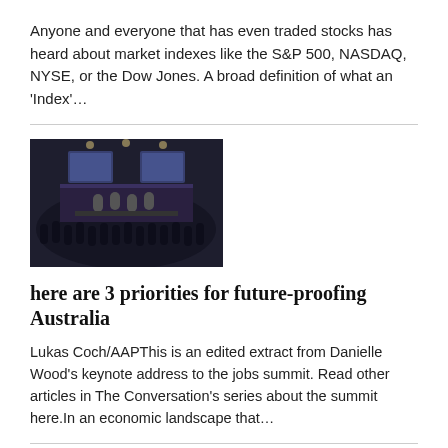Anyone and everyone that has even traded stocks has heard about market indexes like the S&P 500, NASDAQ, NYSE, or the Dow Jones. A broad definition of what an 'Index'…
[Figure (photo): Dark photograph of a large conference hall or summit with audience members and speakers at a stage with screens displaying people]
here are 3 priorities for future-proofing Australia
Lukas Coch/AAPThis is an edited extract from Danielle Wood's keynote address to the jobs summit. Read other articles in The Conversation's series about the summit here.In an economic landscape that…
Government to legislate for multi-employer bargaining, strengthening push for wage